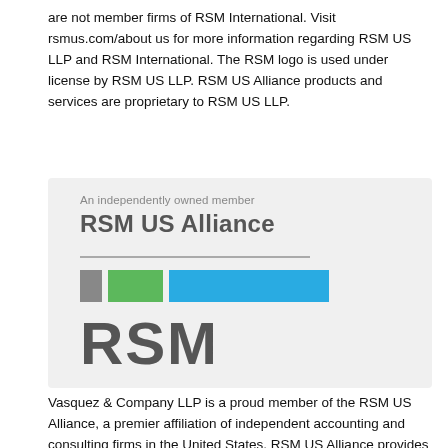are not member firms of RSM International. Visit rsmus.com/about us for more information regarding RSM US LLP and RSM International. The RSM logo is used under license by RSM US LLP. RSM US Alliance products and services are proprietary to RSM US LLP.
[Figure (logo): RSM US Alliance logo badge on light gray background. Shows 'An independently owned member' above bold 'RSM US Alliance' text, a horizontal divider, three colored blocks (gray, green, blue), and large bold 'RSM' text below.]
Vasquez & Company LLP is a proud member of the RSM US Alliance, a premier affiliation of independent accounting and consulting firms in the United States. RSM US Alliance provides our firm with access to resources of RSM US LLP, the leading provider of audit, tax and consulting services focused on the middle market. RSM US LLP is a licensed CPA firm and the U.S. member of RSM International, a global network of